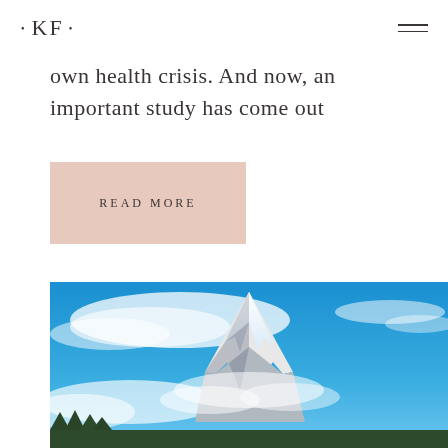• KF •
own health crisis. And now, an important study has come out
READ MORE
[Figure (photo): Mountain landscape with snow-capped peak (Matterhorn) against a bright blue sky with clouds]